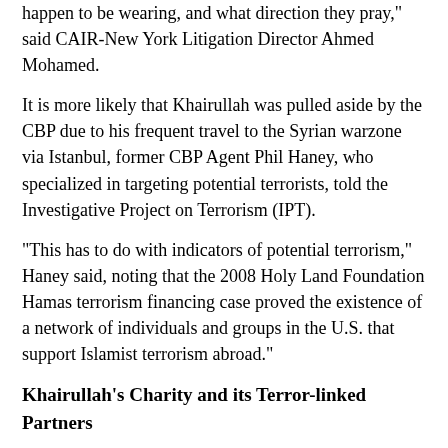happen to be wearing, and what direction they pray," said CAIR-New York Litigation Director Ahmed Mohamed.
It is more likely that Khairullah was pulled aside by the CBP due to his frequent travel to the Syrian warzone via Istanbul, former CBP Agent Phil Haney, who specialized in targeting potential terrorists, told the Investigative Project on Terrorism (IPT).
"This has to do with indicators of potential terrorism," Haney said, noting that the 2008 Holy Land Foundation Hamas terrorism financing case proved the existence of a network of individuals and groups in the U.S. that support Islamist terrorism abroad."
Khairullah's Charity and its Terror-linked Partners
The mayor worked on relief missions and was a board member with Watan USA, the American branch of the London, England-headquartered Watan Foundation. Watan's partner organizations and some of its leaders have supported and assisted Al-Qaida in Syria. Its co-founder and President Moaz al-Sibaai belonged to the Muslim Brotherhood-linked Muslim Council of Britain's Business and Economics Committee.
A 2015 IRS tax form listed Khairullah as a Watan USA board member. It signed a cooperation agreement in 2016 with Turkey's IHH Humanitarian Relief...